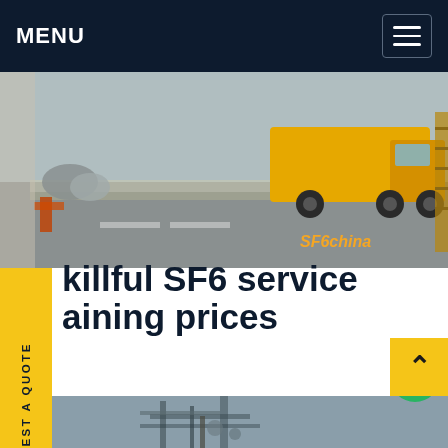MENU
[Figure (photo): A street scene with a yellow truck and industrial equipment, partly showing SF6china watermark logo in the corner]
Skillful SF6 service training prices
e $149 today. What you get: Unlimited access to Customer Service Training. Unlimited access to all courses on GoSkills. Earn an accredited Certificate of Training for every course you complete. Learn at your own pace. Learn from hand picked award-winning instructors. Short, bite-sized lessons to learn faster. Get price
[Figure (photo): Bottom strip photo showing industrial/electrical infrastructure]